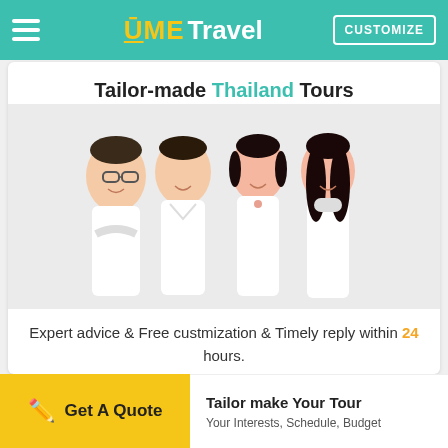UME Travel — CUSTOMIZE
Tailor-made Thailand Tours
[Figure (photo): Four young professionals in white shirts smiling — two men and two women — representing a travel agency team]
Expert advice & Free custmization & Timely reply within 24 hours.
Create My Trip Now!
Get A Quote
Tailor make Your Tour
Your Interests, Schedule, Budget